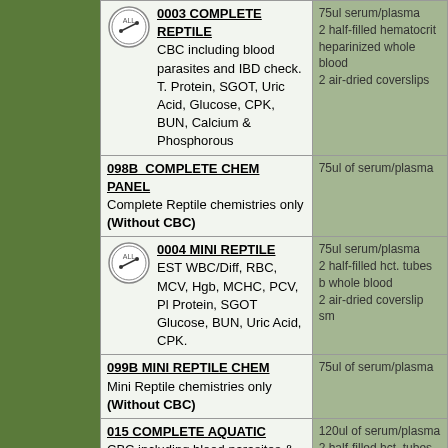| Test / Description | Sample Requirements |
| --- | --- |
| 0003 COMPLETE REPTILE
CBC including blood parasites and IBD check. T. Protein, SGOT, Uric Acid, Glucose, CPK, BUN, Calcium & Phosphorous | 75ul serum/plasma
2 half-filled hematocrit heparinized whole blood
2 air-dried coverslips |
| 098B COMPLETE CHEM PANEL
Complete Reptile chemistries only
(Without CBC) | 75ul of serum/plasma |
| 0004 MINI REPTILE
EST WBC/Diff, RBC, MCV, Hgb, MCHC, PCV, Pl Protein, SGOT Glucose, BUN, Uric Acid, CPK. | 75ul serum/plasma
2 half-filled hct. tubes b whole blood
2 air-dried coverslip sm |
| 099B MINI REPTILE CHEM
Mini Reptile chemistries only (Without CBC) | 75ul of serum/plasma |
| 015 COMPLETE AQUATIC
CBC including blood parasites & IBD check, differential with critical Aquatic cell analysis and the followingCA, T. Protein, Uric Acid, BUN, Creat. Albumin, LDH, Chloride, Glucose, Cholesterol, AST & ALT | 120ul of serum/plasma
2 half-filled hct. tubes of whole blood
2 air-dried coverslip sm |
| MAMMALIAN |  |